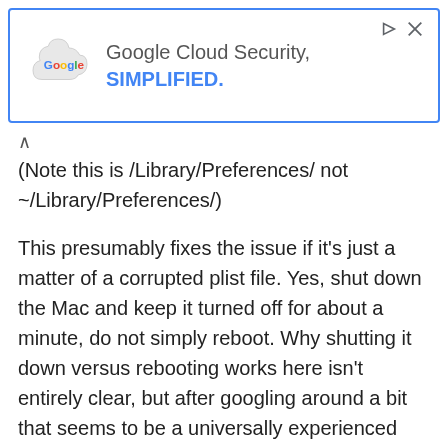[Figure (other): Google Cloud Security advertisement banner with Google logo, cloud icon, and text 'Google Cloud Security, SIMPLIFIED.' in blue, with close and ad-info icons]
(Note this is /Library/Preferences/ not ~/Library/Preferences/)
This presumably fixes the issue if it's just a matter of a corrupted plist file. Yes, shut down the Mac and keep it turned off for about a minute, do not simply reboot. Why shutting it down versus rebooting works here isn't entirely clear, but after googling around a bit that seems to be a universally experienced situation.
With the Mac up and running again, Bluetooth should now be working as normal and the “Not available” message should be gone from the Bluetooth menu, System Preference panel, and System Profiler utility. If not, you can try the next step to reset the Mac SMC